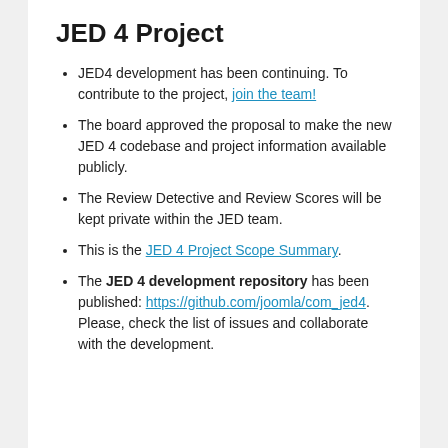JED 4 Project
JED4 development has been continuing. To contribute to the project, join the team!
The board approved the proposal to make the new JED 4 codebase and project information available publicly.
The Review Detective and Review Scores will be kept private within the JED team.
This is the JED 4 Project Scope Summary.
The JED 4 development repository has been published: https://github.com/joomla/com_jed4. Please, check the list of issues and collaborate with the development.